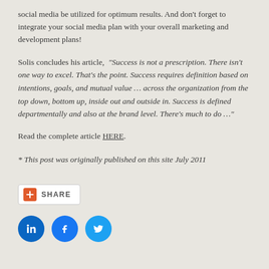social media be utilized for optimum results. And don't forget to integrate your social media plan with your overall marketing and development plans!
Solis concludes his article, “Success is not a prescription. There isn’t one way to excel. That’s the point. Success requires definition based on intentions, goals, and mutual value … across the organization from the top down, bottom up, inside out and outside in. Success is defined departmentally and also at the brand level. There’s much to do …”
Read the complete article HERE.
* This post was originally published on this site July 2011
[Figure (infographic): Share button with orange plus icon and SHARE text label, followed by LinkedIn, Facebook, and Twitter social media icon circles]